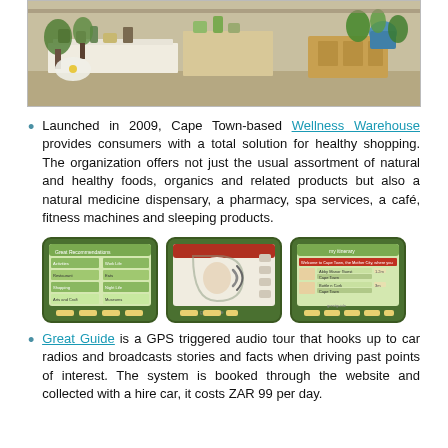[Figure (photo): Interior of Wellness Warehouse store showing plants, shelves with products, white display tables, potted plants and flowers in a retail setting.]
Launched in 2009, Cape Town-based Wellness Warehouse provides consumers with a total solution for healthy shopping. The organization offers not just the usual assortment of natural and healthy foods, organics and related products but also a natural medicine dispensary, a pharmacy, spa services, a café, fitness machines and sleeping products.
[Figure (photo): Three GPS devices/screens showing: (1) Great Recommendations screen with categories like Activities, Restaurants, Shopping, Arts and Craft, Work Life, Eats, Night Life, Museums; (2) GPS device with audio/ear icon on red and cream background; (3) My Itinerary screen showing locations including Abby Manor Guest House and Bottle n Cork in Cape Town.]
Great Guide is a GPS triggered audio tour that hooks up to car radios and broadcasts stories and facts when driving past points of interest. The system is booked through the website and collected with a hire car, it costs ZAR 99 per day.